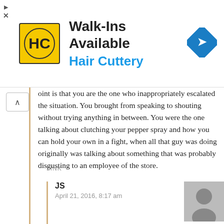[Figure (other): Hair Cuttery advertisement banner with HC logo, 'Walk-Ins Available' heading and 'Hair Cuttery' subheading, and a blue navigation/direction diamond icon]
oint is that you are the one who inappropriately escalated the situation. You brought from speaking to shouting without trying anything in between. You were the one talking about clutching your pepper spray and how you can hold your own in a fight, when all that guy was doing originally was talking about something that was probably disgusting to an employee of the store.
LINK
JS
April 21, 2016, 8:17 am
Completely disagree. This creep was talking about spider porn. He wasn't stopping when asked to by the employee. The situation is already escalated at this point and will not be resolved by quiet yet firm politeness. I know this because this creep then refuses to